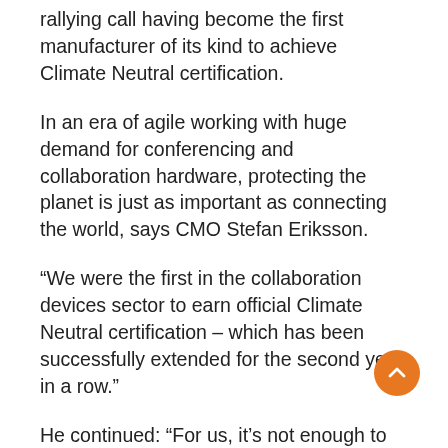rallying call having become the first manufacturer of its kind to achieve Climate Neutral certification.
In an era of agile working with huge demand for conferencing and collaboration hardware, protecting the planet is just as important as connecting the world, says CMO Stefan Eriksson.
“We were the first in the collaboration devices sector to earn official Climate Neutral certification – which has been successfully extended for the second year in a row.”
He continued: “For us, it’s not enough to simply provide innovative technology, equipment and support which helps people communicate more effectively without having to travel. We also have to